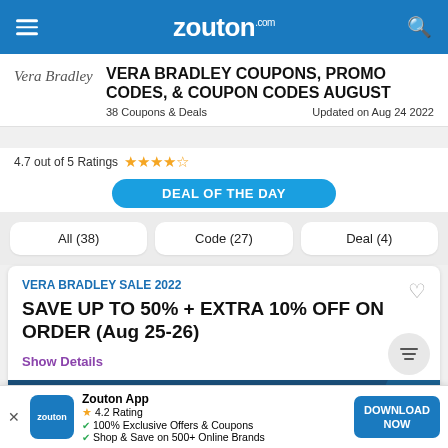zouton.com
VERA BRADLEY COUPONS, PROMO CODES, & COUPON CODES AUGUST
38 Coupons & Deals    Updated on Aug 24 2022
4.7 out of 5 Ratings ★★★★☆
DEAL OF THE DAY
All (38)
Code (27)
Deal (4)
VERA BRADLEY SALE 2022
SAVE UP TO 50% + EXTRA 10% OFF ON ORDER (Aug 25-26)
Show Details
VIEW CODE
Zouton App
4.2 Rating
100% Exclusive Offers & Coupons
Shop & Save on 500+ Online Brands
DOWNLOAD NOW